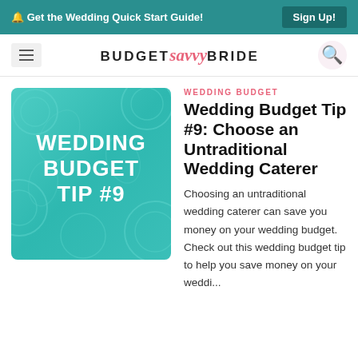🔔 Get the Wedding Quick Start Guide! Sign Up!
BUDGET savvy BRIDE
[Figure (illustration): Teal-colored square image with floral background and bold white text reading WEDDING BUDGET TIP #9]
WEDDING BUDGET
Wedding Budget Tip #9: Choose an Untraditional Wedding Caterer
Choosing an untraditional wedding caterer can save you money on your wedding budget. Check out this wedding budget tip to help you save money on your weddi...